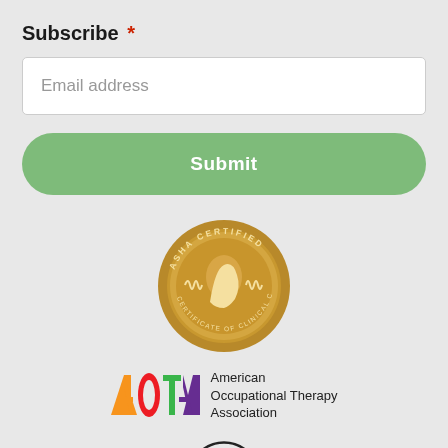Subscribe *
Email address
Submit
[Figure (logo): ASHA Certified – Certificate of Clinical Competence circular gold badge with a side-profile face silhouette and sound wave graphic]
[Figure (logo): AOTA – American Occupational Therapy Association logo with colorful block letters and full name text]
[Figure (logo): Partial circular logo with stylized letters, partially visible at bottom of page]